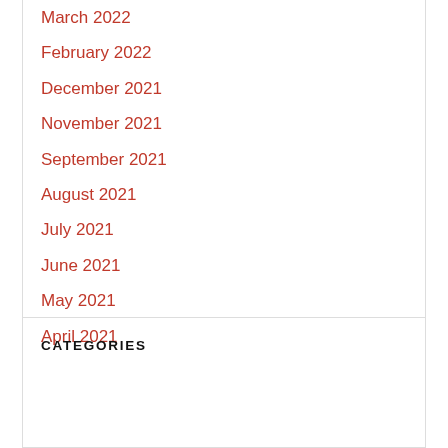March 2022
February 2022
December 2021
November 2021
September 2021
August 2021
July 2021
June 2021
May 2021
April 2021
CATEGORIES